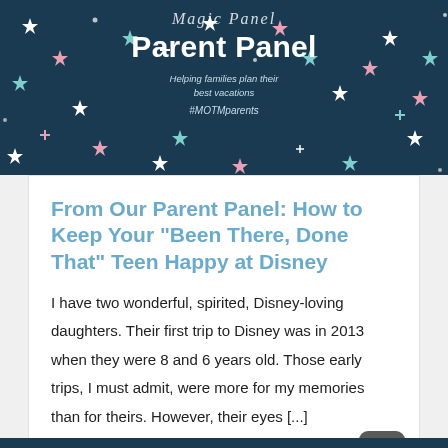[Figure (illustration): Dark navy blue banner header with sparkle/star decorations in white, pink, and teal. Contains cursive 'Magic' text at top, bold white 'Parent Panel' title, italic subtitle 'Helping families plan their best vacations', and hashtag '#MOTMparents'.]
From Our Parent Panel: How to Keep Your “Been There, Done That” Teen Happy at Disney
I have two wonderful, spirited, Disney-loving daughters. Their first trip to Disney was in 2013 when they were 8 and 6 years old. Those early trips, I must admit, were more for my memories than for theirs. However, their eyes [...]